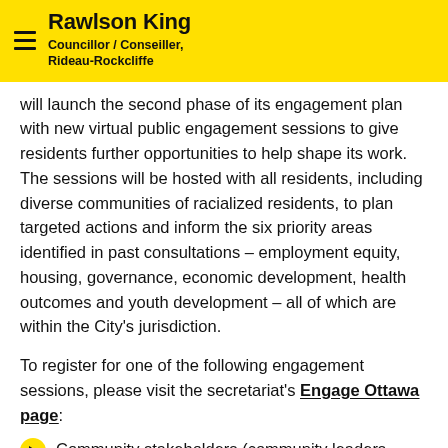Rawlson King — Councillor / Conseiller, Rideau-Rockcliffe
will launch the second phase of its engagement plan with new virtual public engagement sessions to give residents further opportunities to help shape its work. The sessions will be hosted with all residents, including diverse communities of racialized residents, to plan targeted actions and inform the six priority areas identified in past consultations – employment equity, housing, governance, economic development, health outcomes and youth development – all of which are within the City's jurisdiction.
To register for one of the following engagement sessions, please visit the secretariat's Engage Ottawa page:
Community stakeholders (community leaders, community organizations, research experts): Tuesday,